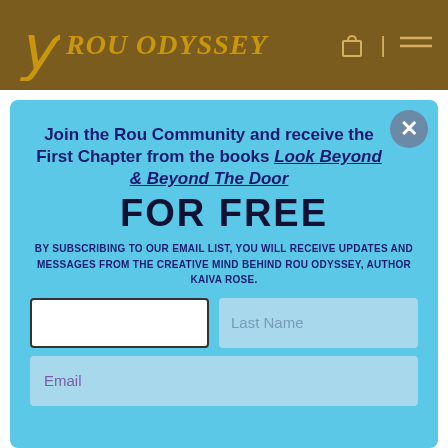[Figure (logo): Rou Odyssey logo with decorative icon and stylized text on brown navigation bar]
Join the Rou Community and receive the First Chapter from the books Look Beyond & Beyond The Door FOR FREE
BY SUBSCRIBING TO OUR EMAIL LIST, YOU WILL RECEIVE UPDATES AND MESSAGES FROM THE CREATIVE MIND BEHIND ROU ODYSSEY, AUTHOR KAIVA ROSE.
Last Name
Email